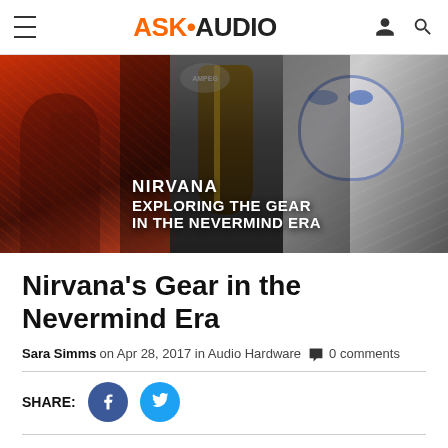ASK•AUDIO
[Figure (photo): Hero banner showing Nirvana-related imagery: left side concert photo of guitarist performing live with orange/red stage lighting, center shows a Fender Jazzmaster guitar against dark background with Ampeg amplifier, right side shows black and white graffiti mural of Kurt Cobain's face. White bold text overlay reads: NIRVANA EXPLORING THE GEAR IN THE NEVERMIND ERA]
Nirvana's Gear in the Nevermind Era
Sara Simms on Apr 28, 2017 in Audio Hardware 0 comments
SHARE: